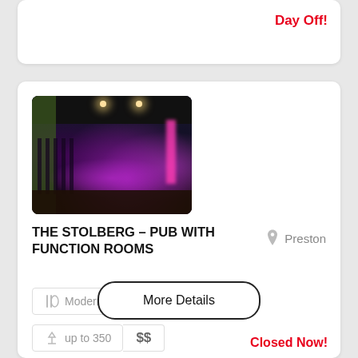Day Off!
[Figure (photo): Interior of The Stolberg function room, dark venue with purple/pink lighting ambiance, rows of chairs on left, illuminated space]
THE STOLBERG – PUB WITH FUNCTION ROOMS
Preston
Modern Australian
up to 110
up to 350
$$
More Details
Closed Now!